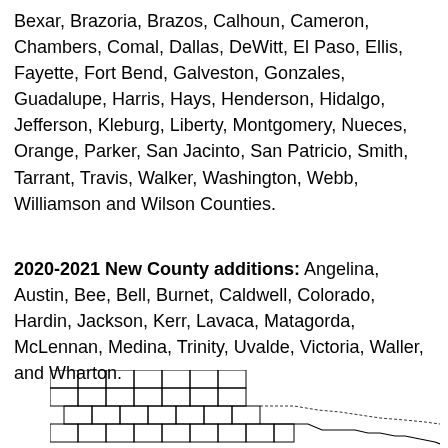Bexar, Brazoria, Brazos, Calhoun, Cameron, Chambers, Comal, Dallas, DeWitt, El Paso, Ellis, Fayette, Fort Bend, Galveston, Gonzales, Guadalupe, Harris, Hays, Henderson, Hidalgo, Jefferson, Kleburg, Liberty, Montgomery, Nueces, Orange, Parker, San Jacinto, San Patricio, Smith, Tarrant, Travis, Walker, Washington, Webb, Williamson and Wilson Counties.
2020-2021 New County additions: Angelina, Austin, Bee, Bell, Burnet, Caldwell, Colorado, Hardin, Jackson, Kerr, Lavaca, Matagorda, McLennan, Medina, Trinity, Uvalde, Victoria, Waller, and Wharton.
[Figure (map): Partial map of Texas counties shown as a grid of rectangles with county boundaries. The map shows the northwestern and central portions of Texas with county grid lines, and the southern/eastern border visible as an irregular line extending to the right.]